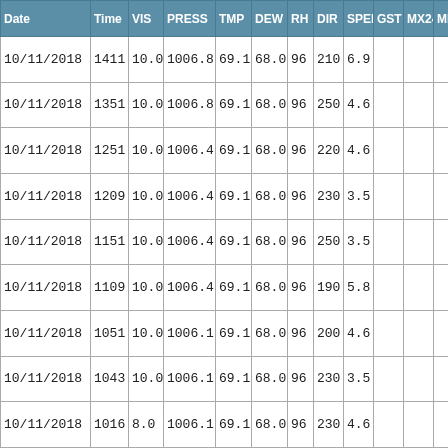| Date | Time | VIS | PRESS | TMP | DEW | RH | DIR | SPEED | GST | MX24 | MN |
| --- | --- | --- | --- | --- | --- | --- | --- | --- | --- | --- | --- |
| 10/11/2018 | 1411 | 10.0 | 1006.8 | 69.1 | 68.0 | 96 | 210 | 6.9 |  |  |  |
| 10/11/2018 | 1351 | 10.0 | 1006.8 | 69.1 | 68.0 | 96 | 250 | 4.6 |  |  |  |
| 10/11/2018 | 1251 | 10.0 | 1006.4 | 69.1 | 68.0 | 96 | 220 | 4.6 |  |  |  |
| 10/11/2018 | 1209 | 10.0 | 1006.4 | 69.1 | 68.0 | 96 | 230 | 3.5 |  |  |  |
| 10/11/2018 | 1151 | 10.0 | 1006.4 | 69.1 | 68.0 | 96 | 250 | 3.5 |  |  |  |
| 10/11/2018 | 1109 | 10.0 | 1006.4 | 69.1 | 68.0 | 96 | 190 | 5.8 |  |  |  |
| 10/11/2018 | 1051 | 10.0 | 1006.1 | 69.1 | 68.0 | 96 | 200 | 4.6 |  |  |  |
| 10/11/2018 | 1043 | 10.0 | 1006.1 | 69.1 | 68.0 | 96 | 230 | 3.5 |  |  |  |
| 10/11/2018 | 1016 | 8.0 | 1006.1 | 69.1 | 68.0 | 96 | 230 | 4.6 |  |  |  |